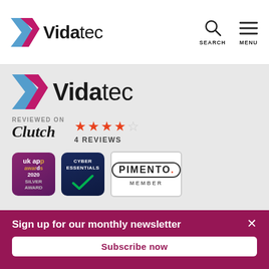Vidatec — SEARCH MENU
[Figure (logo): Vidatec logo with blue and pink chevron icon, large version in grey background area]
REVIEWED ON Clutch ★★★★☆ 4 REVIEWS
[Figure (infographic): Three badges: UK App Awards 2020 Silver Award, Cyber Essentials certified, Pimento Member]
Sign up for our monthly newsletter
Subscribe now